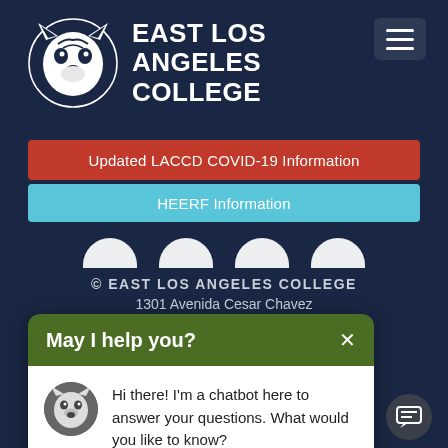[Figure (logo): East Los Angeles College wolf head logo in white on dark navy background]
EAST LOS ANGELES COLLEGE
[Figure (other): Hamburger menu icon button in top right corner]
Updated LACCD COVID-19 Information
HEERF Information
[Figure (other): Four partial social media icon arcs visible at top of footer area]
© EAST LOS ANGELES COLLEGE
1301 Avenida Cesar Chavez
[Figure (screenshot): Chatbot popup widget with green header 'May I help you?' and white body showing wolf avatar and chatbot message]
May I help you?
Hi there! I'm a chatbot here to answer your questions. What would you like to know?